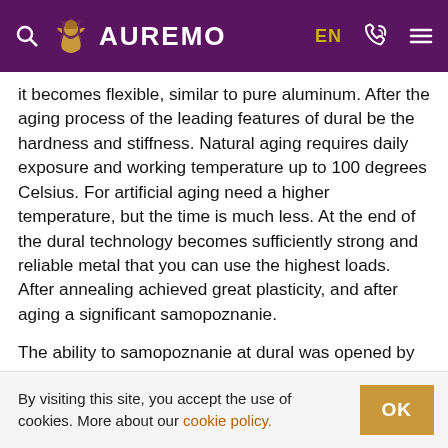AUREMO
it becomes flexible, similar to pure aluminum. After the aging process of the leading features of dural be the hardness and stiffness. Natural aging requires daily exposure and working temperature up to 100 degrees Celsius. For artificial aging need a higher temperature, but the time is much less. At the end of the dural technology becomes sufficiently strong and reliable metal that you can use the highest loads. After annealing achieved great plasticity, and after aging a significant samopoznanie.
The ability to samopoznanie at dural was opened by accident and is now often used in the processing material for use in modern industry. Semi-finished products dependent on the technology of production supplied in the artificially aged, hardened and annealed
By visiting this site, you accept the use of cookies. More about our cookie policy.